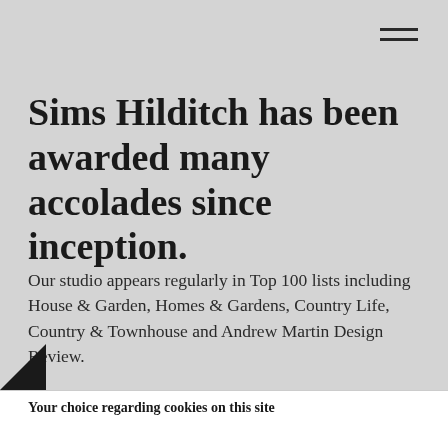Sims Hilditch has been awarded many accolades since inception.
Our studio appears regularly in Top 100 lists including House & Garden, Homes & Gardens, Country Life, Country & Townhouse and Andrew Martin Design Review.
Your choice regarding cookies on this site